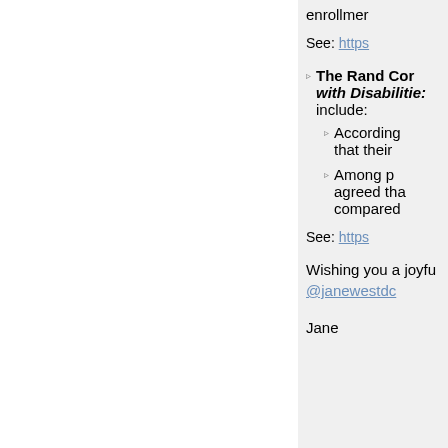enrollment
See: https
The Rand Corporation ... with Disabilities ... include:
According ... that their
Among p... agreed tha... compared
See: https
Wishing you a joyfu... @janewestdc
Jane